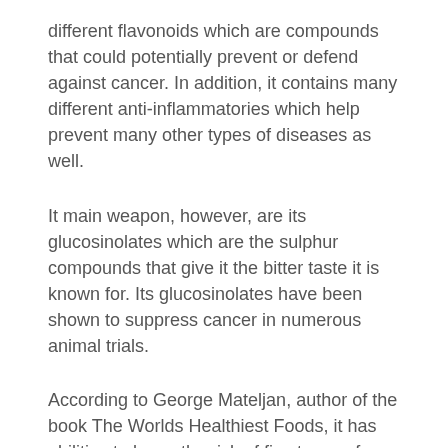different flavonoids which are compounds that could potentially prevent or defend against cancer. In addition, it contains many different anti-inflammatories which help prevent many other types of diseases as well.
It main weapon, however, are its glucosinolates which are the sulphur compounds that give it the bitter taste it is known for. Its glucosinolates have been shown to suppress cancer in numerous animal trials.
According to George Mateljan, author of the book The Worlds Healthiest Foods, it has abilities to lower the risk of five types of cancers, bladder, breast, colon, prostate and ovary.
Glucosinolate research